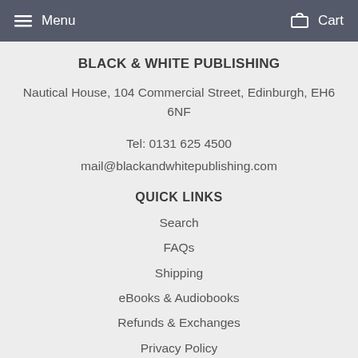Menu   Cart
BLACK & WHITE PUBLISHING
Nautical House, 104 Commercial Street, Edinburgh, EH6 6NF
Tel: 0131 625 4500
mail@blackandwhitepublishing.com
QUICK LINKS
Search
FAQs
Shipping
eBooks & Audiobooks
Refunds & Exchanges
Privacy Policy